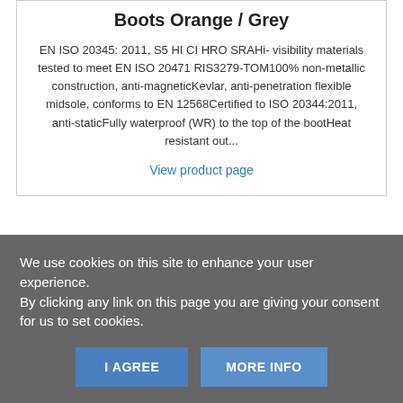Boots Orange / Grey
EN ISO 20345: 2011, S5 HI CI HRO SRAHi- visibility materials tested to meet EN ISO 20471 RIS3279-TOM100% non-metallic construction, anti-magneticKevlar, anti-penetration flexible midsole, conforms to EN 12568Certified to ISO 20344:2011, anti-staticFully waterproof (WR) to the top of the bootHeat resistant out...
View product page
We use cookies on this site to enhance your user experience.
By clicking any link on this page you are giving your consent for us to set cookies.
I AGREE
MORE INFO